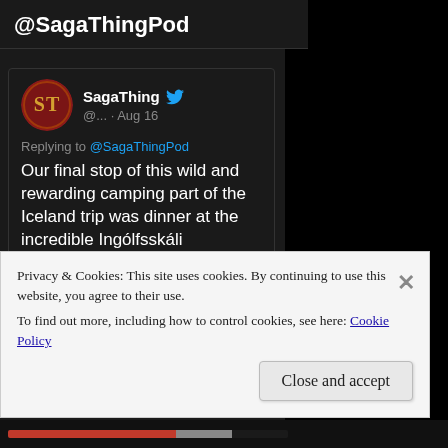@SagaThingPod
SagaThing @... · Aug 16
Replying to @SagaThingPod
Our final stop of this wild and rewarding camping part of the Iceland trip was dinner at the incredible Ingólfsskáli Restaurant. I've got plans to return to this place with a lot more
Privacy & Cookies: This site uses cookies. By continuing to use this website, you agree to their use.
To find out more, including how to control cookies, see here: Cookie Policy